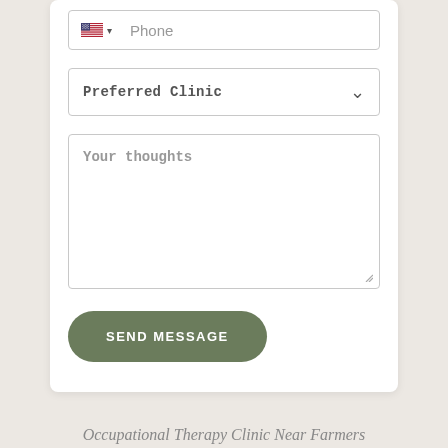[Figure (screenshot): Phone input field with US flag icon and dropdown arrow, placeholder text 'Phone']
[Figure (screenshot): Dropdown selector labeled 'Preferred Clinic' with chevron arrow on right]
[Figure (screenshot): Textarea input field with placeholder text 'Your thoughts' and resize handle]
[Figure (screenshot): Green rounded button labeled 'SEND MESSAGE']
Occupational Therapy Clinic Near Farmers